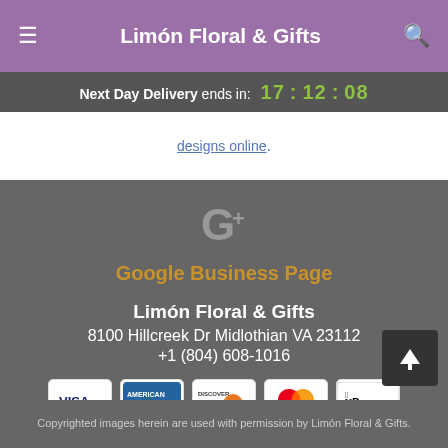Limón Floral & Gifts
Next Day Delivery ends in: 17:12:08
designs online.
[Figure (logo): Google+ G+ icon in grey]
Google Business Page
Limón Floral & Gifts
8100 Hillcreek Dr Midlothian VA 23112
+1 (804) 608-1016
[Figure (other): Payment icons: Visa, American Express, Discover, Mastercard, Apple Pay]
Copyrighted images herein are used with permission by Limón Floral & Gifts.